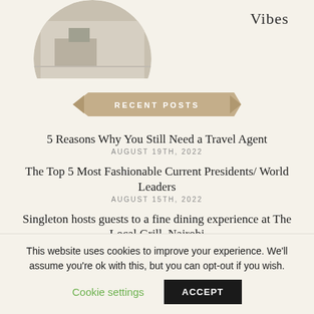[Figure (photo): Circular cropped interior photo showing a living room with furniture, partially visible at top of page]
Vibes
RECENT POSTS
5 Reasons Why You Still Need a Travel Agent
AUGUST 19TH, 2022
The Top 5 Most Fashionable Current Presidents/ World Leaders
AUGUST 15TH, 2022
Singleton hosts guests to a fine dining experience at The Local Grill, Nairobi
This website uses cookies to improve your experience. We'll assume you're ok with this, but you can opt-out if you wish.
Cookie settings
ACCEPT